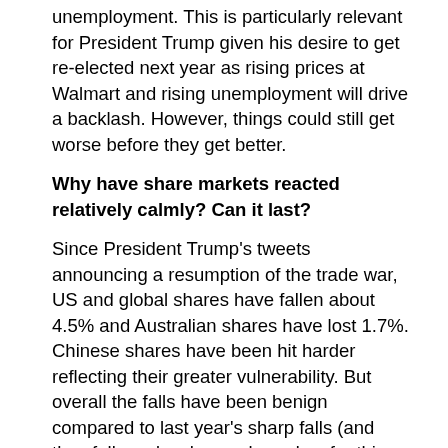unemployment. This is particularly relevant for President Trump given his desire to get re-elected next year as rising prices at Walmart and rising unemployment will drive a backlash. However, things could still get worse before they get better.
Why have share markets reacted relatively calmly? Can it last?
Since President Trump's tweets announcing a resumption of the trade war, US and global shares have fallen about 4.5% and Australian shares have lost 1.7%. Chinese shares have been hit harder reflecting their greater vulnerability. But overall the falls have been benign compared to last year's sharp falls (and they followed a sharp rebound so far this year). This likely reflects a combination of: investor optimism of a deal to resolve the issue; last years' experience where the worst case fears of tariff hikes did not come to pass; hopes for more Chinese economic stimulus